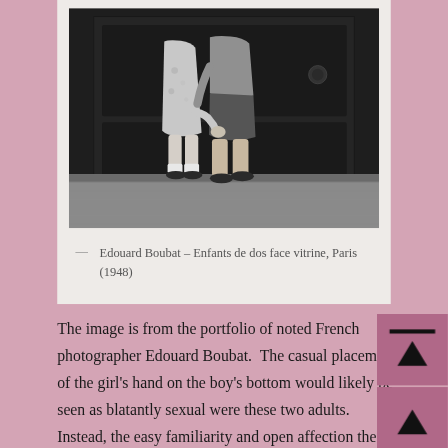[Figure (photo): Black and white photograph showing two children from behind, walking side by side — a girl in a skirt and a boy — with the girl's hand resting on the boy's bottom, standing against a dark storefront window]
— Edouard Boubat – Enfants de dos face vitrine, Paris (1948)
The image is from the portfolio of noted French photographer Edouard Boubat.  The casual placement of the girl's hand on the boy's bottom would likely be seen as blatantly sexual were these two adults.  Instead, the easy familiarity and open affection the children have with each other is endearing.  Boubat photographed the little couple again, walking in the street; it seems they never relinquished their close hold on each other.